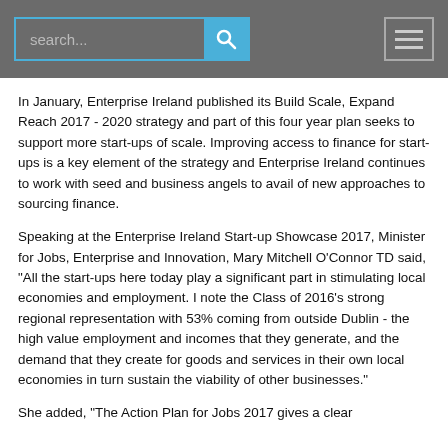search...
In January, Enterprise Ireland published its Build Scale, Expand Reach 2017 - 2020 strategy and part of this four year plan seeks to support more start-ups of scale. Improving access to finance for start-ups is a key element of the strategy and Enterprise Ireland continues to work with seed and business angels to avail of new approaches to sourcing finance.
Speaking at the Enterprise Ireland Start-up Showcase 2017, Minister for Jobs, Enterprise and Innovation, Mary Mitchell O'Connor TD said, "All the start-ups here today play a significant part in stimulating local economies and employment. I note the Class of 2016's strong regional representation with 53% coming from outside Dublin - the high value employment and incomes that they generate, and the demand that they create for goods and services in their own local economies in turn sustain the viability of other businesses."
She added, "The Action Plan for Jobs 2017 gives a clear